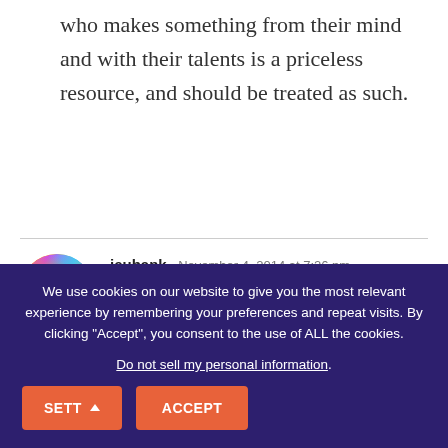who makes something from their mind and with their talents is a priceless resource, and should be treated as such.
jeubank  November 4, 2014 at 7:26 pm
Thoughtful. Thank you once again for speaking up and encouraging us to as well.
We use cookies on our website to give you the most relevant experience by remembering your preferences and repeat visits. By clicking “Accept”, you consent to the use of ALL the cookies.
Do not sell my personal information.